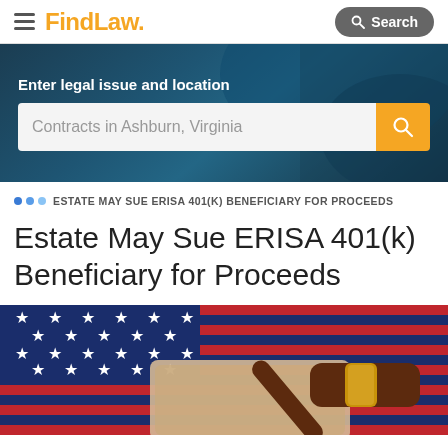FindLaw — Search
[Figure (screenshot): Hero banner with dark blue background, bold white text 'Enter legal issue and location', a search field showing 'Contracts in Ashburn, Virginia', and an orange search button.]
ESTATE MAY SUE ERISA 401(K) BENEFICIARY FOR PROCEEDS
Estate May Sue ERISA 401(k) Beneficiary for Proceeds
[Figure (photo): Photo of an American flag with stars visible and a wooden judge's gavel with gold band resting on a scroll/document.]